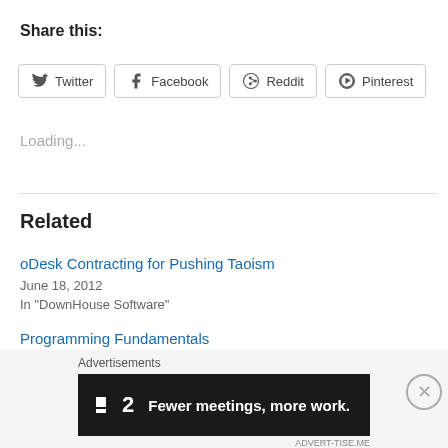Share this:
Twitter  Facebook  Reddit  Pinterest
Loading...
Related
oDesk Contracting for Pushing Taoism
June 18, 2012
In "DownHouse Software"
Programming Fundamentals
August 29, 2012
Advertisements
[Figure (infographic): Advertisement banner: Fewer meetings, more work. (P2 logo on dark background)]